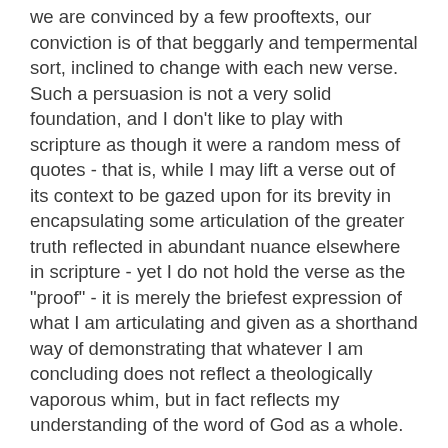we are convinced by a few prooftexts, our conviction is of that beggarly and tempermental sort, inclined to change with each new verse. Such a persuasion is not a very solid foundation, and I don't like to play with scripture as though it were a random mess of quotes - that is, while I may lift a verse out of its context to be gazed upon for its brevity in encapsulating some articulation of the greater truth reflected in abundant nuance elsewhere in scripture - yet I do not hold the verse as the "proof" - it is merely the briefest expression of what I am articulating and given as a shorthand way of demonstrating that whatever I am concluding does not reflect a theologically vaporous whim, but in fact reflects my understanding of the word of God as a whole.
Sorry for the length of the caveat, but I absolutely deplore prooftexting - not because I prefer to hold my opinions as though whatever airy-fairy whim I descend upon is valid simply because I believe it, and that there is therefore no need for me to fortify my opinion by demonstrating a real